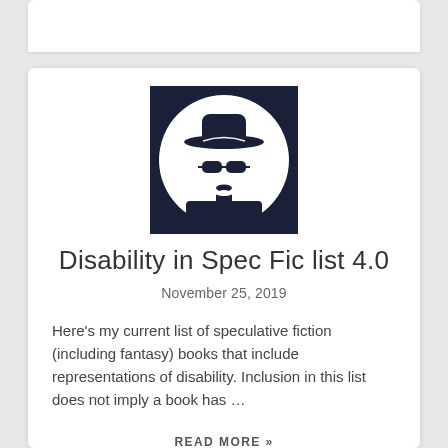[Figure (illustration): Stylized avatar illustration of a person wearing a wide-brimmed hat and sunglasses, dark navy color, inside a circle with dark square corners forming a framed logo.]
Disability in Spec Fic list 4.0
November 25, 2019
Here's my current list of speculative fiction (including fantasy) books that include representations of disability. Inclusion in this list does not imply a book has …
READ MORE »